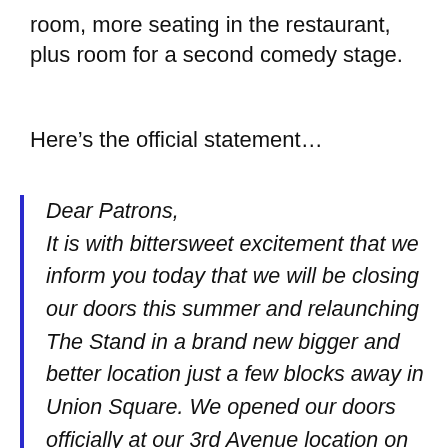room, more seating in the restaurant, plus room for a second comedy stage.
Here’s the official statement…
Dear Patrons,
It is with bittersweet excitement that we inform you today that we will be closing our doors this summer and relaunching The Stand in a brand new bigger and better location just a few blocks away in Union Square. We opened our doors officially at our 3rd Avenue location on September 20, 2012 with a concept and a vision that we knew would change the way people